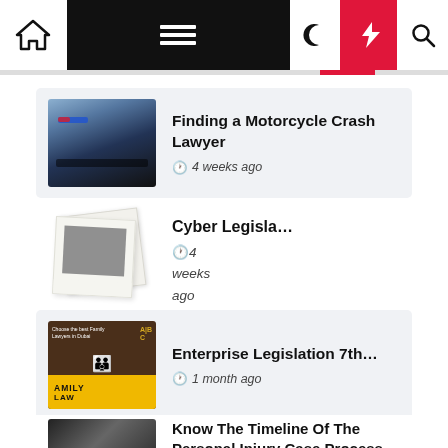Navigation bar with home, menu, moon, lightning, search icons
[Figure (screenshot): Motorcycle crash scene thumbnail — police lights, downed motorcycle, night scene]
Finding a Motorcycle Crash Lawyer
4 weeks ago
[Figure (photo): Polaroid-style placeholder image thumbnail]
Cyber Legisla…
4 weeks ago
[Figure (photo): Family law — Choose the best Family Lawyers in Dubai, yellow sign reading FAMILY LAW with paper family figures]
Enterprise Legislation 7th…
1 month ago
[Figure (photo): Personal injury — person at desk, partial view]
Know The Timeline Of The Personal Injury Case Process